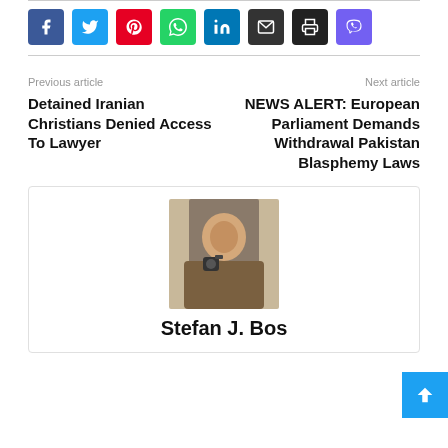[Figure (infographic): Row of 8 social share buttons: Facebook (blue), Twitter (light blue), Pinterest (red), WhatsApp (green), LinkedIn (dark blue), Email (dark gray), Print (black), Viber (purple), each as colored rounded squares with white icons]
Previous article
Detained Iranian Christians Denied Access To Lawyer
Next article
NEWS ALERT: European Parliament Demands Withdrawal Pakistan Blasphemy Laws
[Figure (photo): Headshot photo of a man wearing glasses and a brown jacket, holding camera equipment outdoors]
Stefan J. Bos